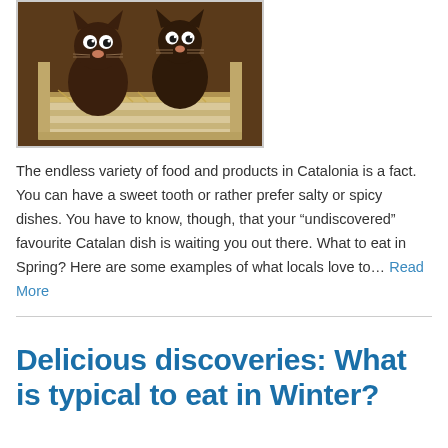[Figure (photo): Two chocolate cat figurines with googly eyes sitting in a wooden crate filled with straw]
The endless variety of food and products in Catalonia is a fact. You can have a sweet tooth or rather prefer salty or spicy dishes. You have to know, though, that your “undiscovered” favourite Catalan dish is waiting you out there. What to eat in Spring? Here are some examples of what locals love to… Read More
Delicious discoveries: What is typical to eat in Winter?